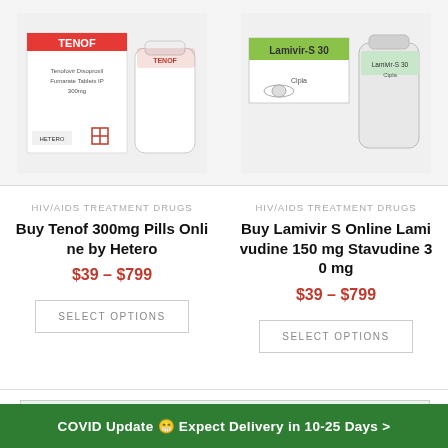[Figure (photo): Product photo of Tenof 300mg pills box and bottle by Hetero]
[Figure (photo): Product photo of Lamivir-S 30 tablets box and bottle by Cipla]
HIV/AIDS TREATMENT DRUGS
Buy Tenof 300mg Pills Online by Hetero
$39 – $799
SELECT OPTIONS
HIV/AIDS TREATMENT DRUGS
Buy Lamivir S Online Lamivudine 150 mg Stavudine 30 mg
$39 – $799
SELECT OPTIONS
COVID Update 😷 Expect Delivery in 10-25 Days >